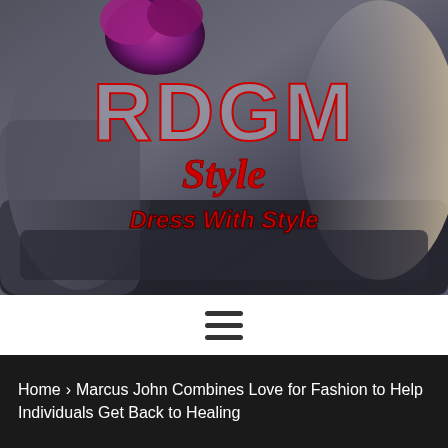[Figure (photo): Hero banner photo of two fashion models on a couch with purple flowers, overlaid with RDGM Style 'Dress With Style' logo in red and grey]
[Figure (other): Hamburger menu icon (three horizontal lines)]
Home › Marcus John Combines Love for Fashion to Help Individuals Get Back to Healing